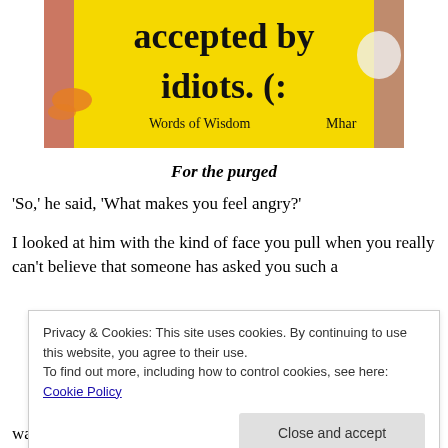[Figure (photo): Yellow background image with text 'accepted by idiots. (:' and subtitle 'Words of Wisdom' with author 'Mhar', decorated with butterflies and flowers.]
For the purged
'So,' he said, 'What makes you feel angry?'
I looked at him with the kind of face you pull when you really can't believe that someone has asked you such a
Privacy & Cookies: This site uses cookies. By continuing to use this website, you agree to their use. To find out more, including how to control cookies, see here: Cookie Policy
want to know.'